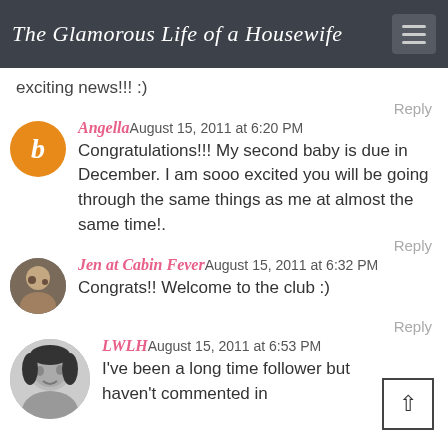The Glamorous Life of a Housewife
exciting news!!! :)
Reply
Angella August 15, 2011 at 6:20 PM
Congratulations!!! My second baby is due in December. I am sooo excited you will be going through the same things as me at almost the same time!.
Reply
Jen at Cabin Fever August 15, 2011 at 6:32 PM
Congrats!! Welcome to the club :)
Reply
LWLH August 15, 2011 at 6:53 PM
I've been a long time follower but haven't commented in